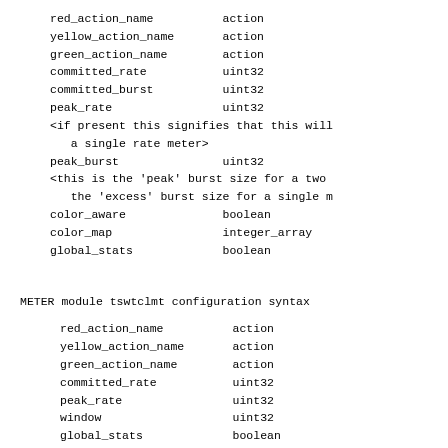red_action_name          action
yellow_action_name       action
green_action_name        action
committed_rate           uint32
committed_burst          uint32
peak_rate                uint32
<if present this signifies that this will be a single rate meter>
peak_burst               uint32
<this is the 'peak' burst size for a two rate meter or the 'excess' burst size for a single rate meter>
color_aware              boolean
color_map                integer_array
global_stats             boolean
METER module tswtclmt configuration syntax
red_action_name          action
yellow_action_name       action
green_action_name        action
committed_rate           uint32
peak_rate                uint32
window                   uint32
global_stats             boolean
MARKER module dscpmk configuration syntax